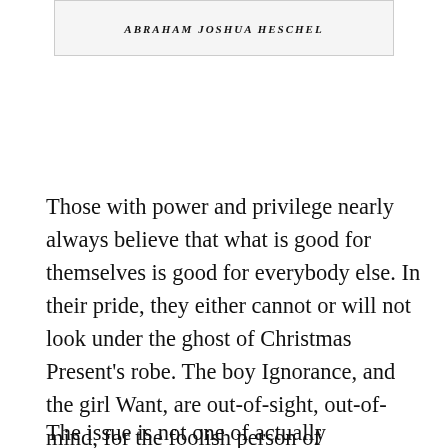ABRAHAM JOSHUA HESCHEL
Those with power and privilege nearly always believe that what is good for themselves is good for everybody else. In their pride, they either cannot or will not look under the ghost of Christmas Present’s robe. The boy Ignorance, and the girl Want, are out-of-sight, out-of-mind, for the foolish person of indifference.
The issue is not one of actually possessing